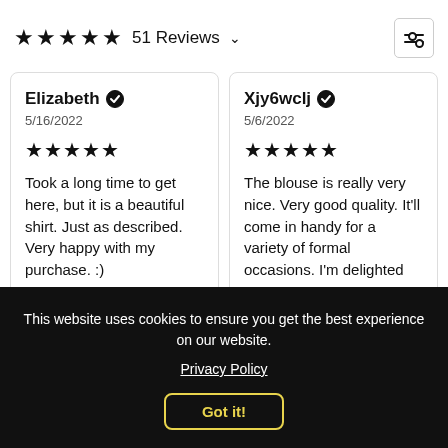★★★★★ 51 Reviews ∨
Elizabeth ✓
5/16/2022
★★★★★
Took a long time to get here, but it is a beautiful shirt. Just as described. Very happy with my purchase. :)
Xjy6wclj ✓
5/6/2022
★★★★★
The blouse is really very nice. Very good quality. It'll come in handy for a variety of formal occasions. I'm delighted
This website uses cookies to ensure you get the best experience on our website.
Privacy Policy
Got it!